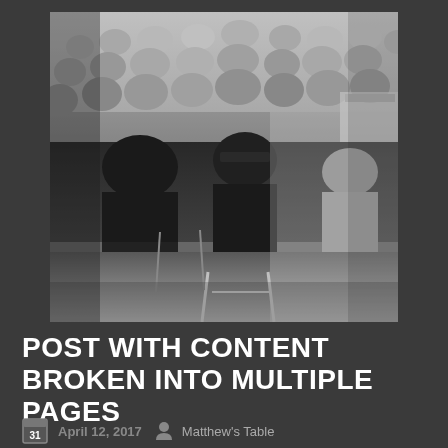[Figure (photo): Black and white photograph of a large crowd of people seated in folding chairs, viewed from behind. In the foreground, two people are seated closely together — one appears to be in a dark hoodie and the other in a dark jacket. The scene appears to be an indoor community event or gathering.]
POST WITH CONTENT BROKEN INTO MULTIPLE PAGES
April 12, 2017   Matthew's Table